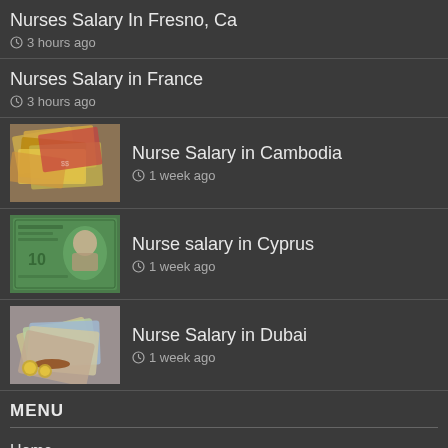Nurses Salary In Fresno, Ca
3 hours ago
Nurses Salary in France
3 hours ago
Nurse Salary in Cambodia
1 week ago
Nurse salary in Cyprus
1 week ago
Nurse Salary in Dubai
1 week ago
MENU
Home